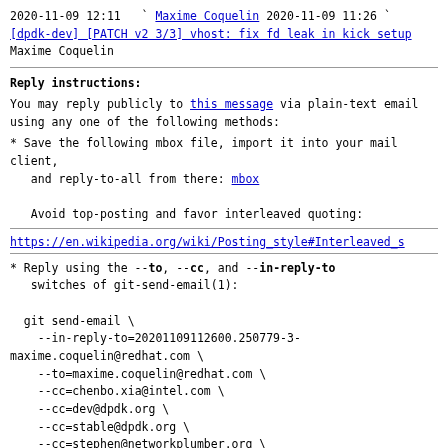2020-11-09 12:11   ` Maxime Coquelin
2020-11-09 11:26 ` [dpdk-dev] [PATCH v2 3/3] vhost: fix fd leak in kick setup Maxime Coquelin
Reply instructions:
You may reply publicly to this message via plain-text email
using any one of the following methods:
* Save the following mbox file, import it into your mail client,
   and reply-to-all from there: mbox

   Avoid top-posting and favor interleaved quoting:
https://en.wikipedia.org/wiki/Posting_style#Interleaved_s
* Reply using the --to, --cc, and --in-reply-to
   switches of git-send-email(1):

  git send-email \
    --in-reply-to=20201109112600.250779-3-
maxime.coquelin@redhat.com \
    --to=maxime.coquelin@redhat.com \
    --cc=chenbo.xia@intel.com \
    --cc=dev@dpdk.org \
    --cc=stable@dpdk.org \
    --cc=stephen@networkplumber.org \